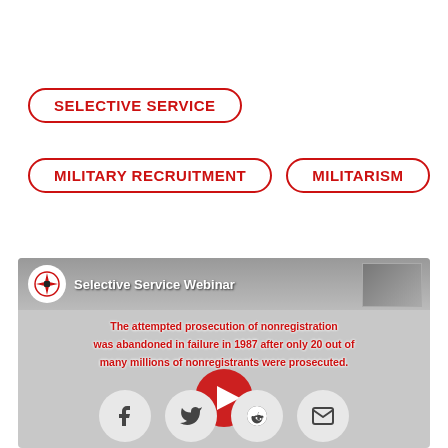SELECTIVE SERVICE
MILITARY RECRUITMENT
MILITARISM
[Figure (screenshot): YouTube video thumbnail for a Selective Service Webinar. Shows the Selective Service logo (compass star), video title 'Selective Service Webinar', red text overlay reading 'The attempted prosecution of nonregistration was abandoned in failure in 1987 after only 20 out of many millions of nonregistrants were prosecuted.', a YouTube play button, and a small inset photo of a speaker in the top right.]
[Figure (infographic): Social media sharing icons row: Facebook, Twitter, Reddit, Email (envelope)]